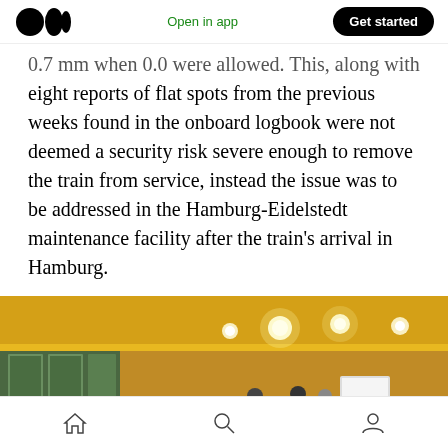Medium logo | Open in app | Get started
0.7 mm when 0.0 were allowed. This, along with eight reports of flat spots from the previous weeks found in the onboard logbook were not deemed a security risk severe enough to remove the train from service, instead the issue was to be addressed in the Hamburg-Eidelstedt maintenance facility after the train's arrival in Hamburg.
[Figure (photo): Interior of a modern building lobby/meeting area with yellow ceiling lights, wooden paneling, large windows, and people standing near a whiteboard. A plant is visible in the foreground.]
Home | Search | Profile